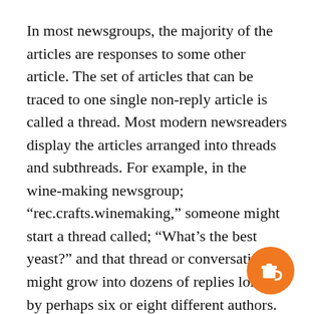In most newsgroups, the majority of the articles are responses to some other article. The set of articles that can be traced to one single non-reply article is called a thread. Most modern newsreaders display the articles arranged into threads and subthreads. For example, in the wine-making newsgroup; “rec.crafts.winemaking,” someone might start a thread called; “What’s the best yeast?” and that thread or conversation might grow into dozens of replies long, by perhaps six or eight different authors. Over several days, that conversation about different wine yeasts might branch into several sub-threads in a tree-like form.
[Figure (illustration): Orange circular button with a coffee cup icon (Buy Me a Coffee widget), positioned in the bottom-right corner.]